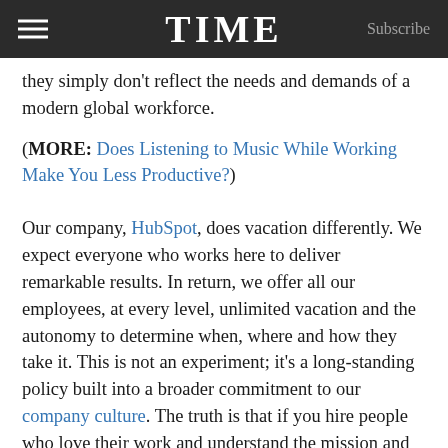TIME | Subscribe
they simply don't reflect the needs and demands of a modern global workforce.
(MORE: Does Listening to Music While Working Make You Less Productive?)
Our company, HubSpot, does vacation differently. We expect everyone who works here to deliver remarkable results. In return, we offer all our employees, at every level, unlimited vacation and the autonomy to determine when, where and how they take it. This is not an experiment; it's a long-standing policy built into a broader commitment to our company culture. The truth is that if you hire people who love their work and understand the mission and vision of your company, banking, tracking and paying out unused vacation become a massive waste of time and money. We devote that time, energy and money to our customers, and our company is better off for it.